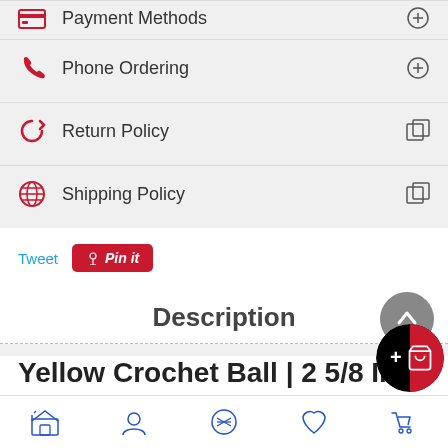Payment Methods
Phone Ordering
Return Policy
Shipping Policy
Tweet  Pin it
Description
Yellow Crochet Ball | 2 5/8 Inch (67mm)